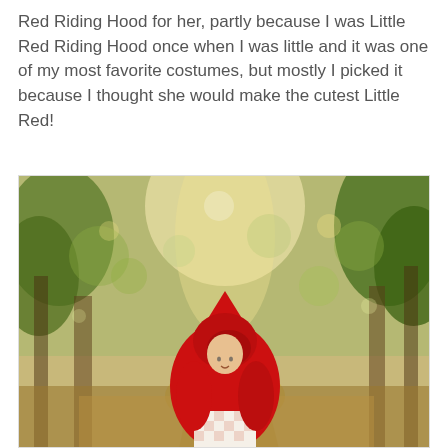Red Riding Hood for her, partly because I was Little Red Riding Hood once when I was little and it was one of my most favorite costumes, but mostly I picked it because I thought she would make the cutest Little Red!
[Figure (photo): A young child dressed as Little Red Riding Hood wearing a bright red hooded cape and a white checkered dress, standing on a forest path surrounded by trees with soft bokeh green and golden light in the background.]